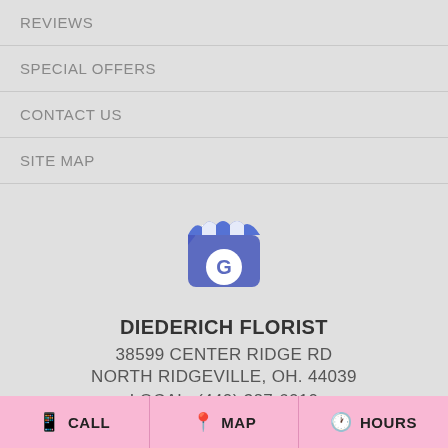REVIEWS
SPECIAL OFFERS
CONTACT US
SITE MAP
[Figure (logo): Google My Business store icon with blue-and-white striped awning and the letter G]
DIEDERICH FLORIST
38599 CENTER RIDGE RD
NORTH RIDGEVILLE, OH. 44039
LOCAL: (440) 327-6010
CALL   MAP   HOURS